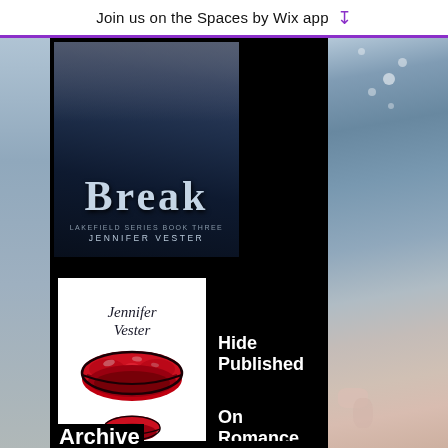Join us on the Spaces by Wix app ⬇
[Figure (illustration): Book cover for 'Break' by Jennifer Vester, Lakefield Series Book Three, with dark blue tones showing a person lying down]
Hide Published
On Romance...
Archive